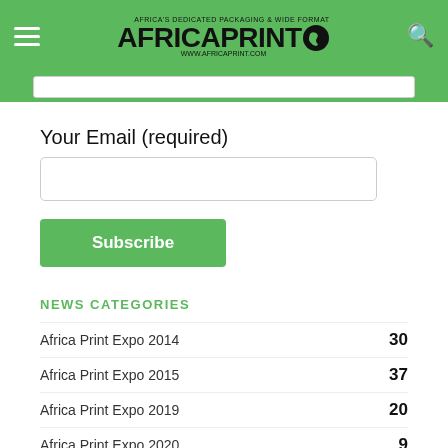[Figure (logo): Africa Print logo with green header bar, hamburger menu icon on left, magnifying glass icon on right]
Your Email (required)
Subscribe
NEWS CATEGORIES
Africa Print Expo 2014  30
Africa Print Expo 2015  37
Africa Print Expo 2019  20
Africa Print Expo 2020  9
Africa Print Expo 2021  11